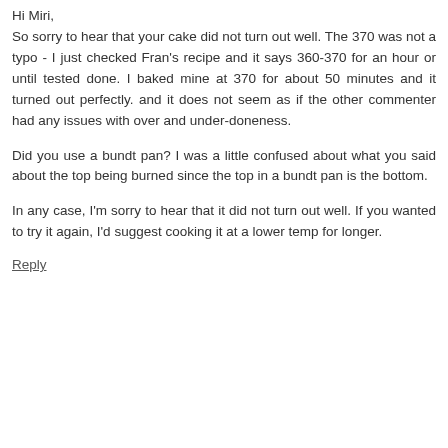Hi Miri,
So sorry to hear that your cake did not turn out well. The 370 was not a typo - I just checked Fran's recipe and it says 360-370 for an hour or until tested done. I baked mine at 370 for about 50 minutes and it turned out perfectly. and it does not seem as if the other commenter had any issues with over and under-doneness.
Did you use a bundt pan? I was a little confused about what you said about the top being burned since the top in a bundt pan is the bottom.
In any case, I'm sorry to hear that it did not turn out well. If you wanted to try it again, I'd suggest cooking it at a lower temp for longer.
Reply